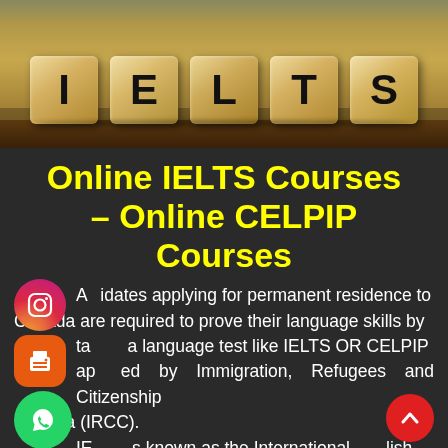[Figure (photo): Wooden letter blocks spelling IELTS on a wooden surface]
Online IELTS Courses – Online CELPIP Courses
All candidates applying for permanent residence to Canada are required to prove their language skills by taking a language test like IELTS OR CELPIP approved by Immigration, Refugees and Citizenship Canada (IRCC). IELTS is known as the International English Language Testing System and it is the world's premier English language test recognized by IRCC.